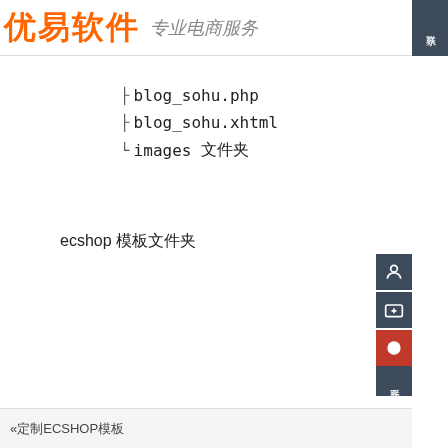优易软件 专业电商服务
├ blog_sohu.php
├ blog_sohu.xhtml
└ images 文件夹
ecshop 模板文件夹
«上一篇 定制ECSHOP模板